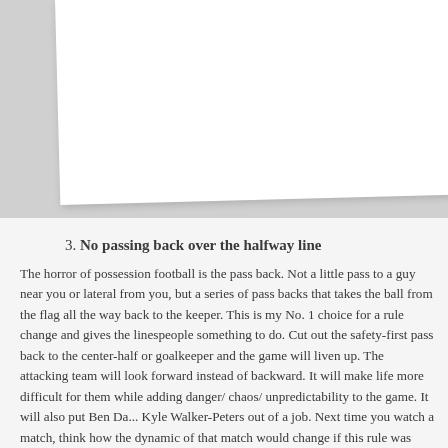3. No passing back over the halfway line
The horror of possession football is the pass back. Not a little pass to a guy near you or lateral from you, but a series of pass backs that takes the ball from the flag all the way back to the keeper. This is my No. 1 choice for a rule change and gives the linespeople something to do. Cut out the safety-first pass back to the center-half or goalkeeper and the game will liven up. The attacking team will look forward instead of backward. It will make life more difficult for them while adding danger/ chaos/ unpredictability to the game. It will also put Ben Da... Kyle Walker-Peters out of a job. Next time you watch a match, think how the dynamic of that match would change if this rule was introduced. You kno... sense.
4. No penalties